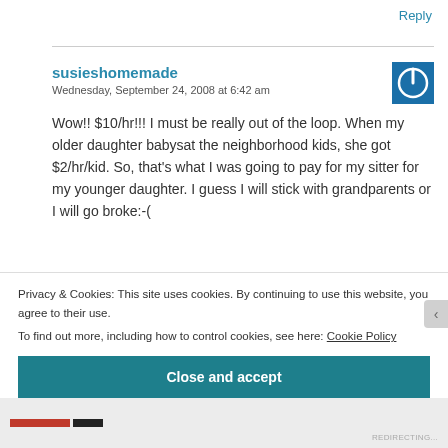Reply
susieshomemade
Wednesday, September 24, 2008 at 6:42 am
[Figure (logo): Blue square icon with a circular power button symbol in white]
Wow!! $10/hr!!! I must be really out of the loop. When my older daughter babysat the neighborhood kids, she got $2/hr/kid. So, that's what I was going to pay for my sitter for my younger daughter. I guess I will stick with grandparents or I will go broke:-(
Privacy & Cookies: This site uses cookies. By continuing to use this website, you agree to their use.
To find out more, including how to control cookies, see here: Cookie Policy
Close and accept